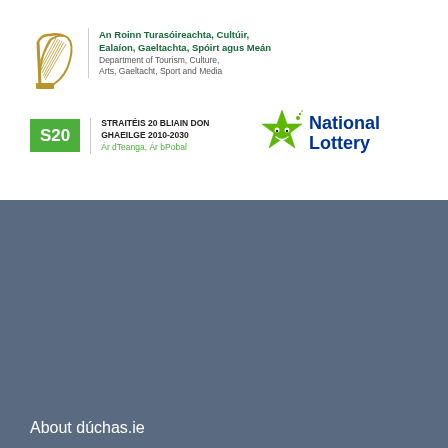[Figure (logo): Irish Government Department of Tourism, Culture, Arts, Gaeltacht, Sport and Media logo with harp symbol]
[Figure (logo): Straitéis 20 Bliain don Ghaeilge 2010-2030 logo with green S20 box]
[Figure (logo): National Lottery logo with green star character]
About dúchas.ie
The Main Manuscript Collection
The Schools' Collection
The Photographic Collection
Meitheal Dúchas.ie
Announcements archive
Content and data:
© 2022 National Folklore Collection, UCD